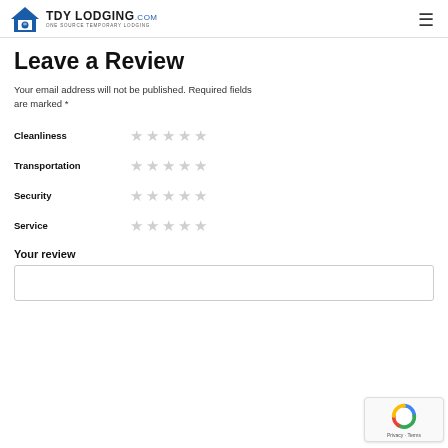TDY LODGING.com — ONE SOURCE TEMPORARY LODGING
Leave a Review
Your email address will not be published. Required fields are marked *
Cleanliness ★★★★★
Transportation ★★★★★
Security ★★★★★
Service ★★★★★
Your review